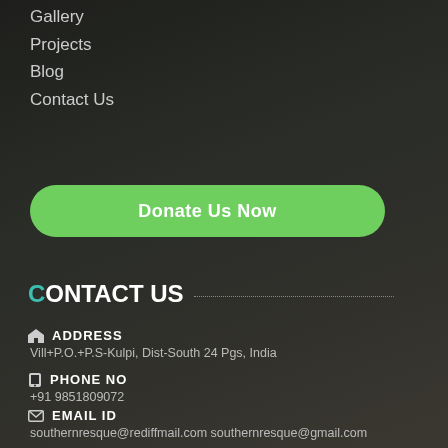Gallery
Projects
Blog
Contact Us
Donate Us Now
CONTACT US
ADDRESS
Vill+P.O.+P.S-Kulpi, Dist-South 24 Pgs, India
PHONE NO
+91 9851809072
EMAIL ID
southernresque@rediffmail.com southernresque@gmail.com
WEB ADDRESS
www.southernresque.org